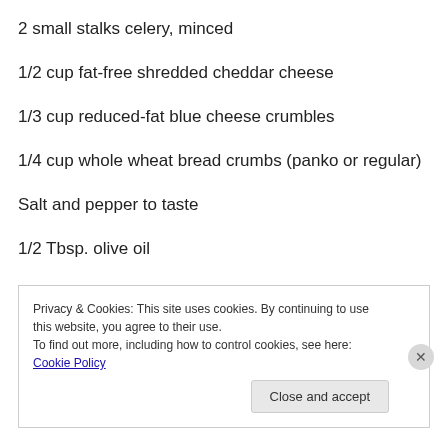2 small stalks celery, minced
1/2 cup fat-free shredded cheddar cheese
1/3 cup reduced-fat blue cheese crumbles
1/4 cup whole wheat bread crumbs (panko or regular)
Salt and pepper to taste
1/2 Tbsp. olive oil
1/3 cup fat-free ranch
Privacy & Cookies: This site uses cookies. By continuing to use this website, you agree to their use.
To find out more, including how to control cookies, see here: Cookie Policy